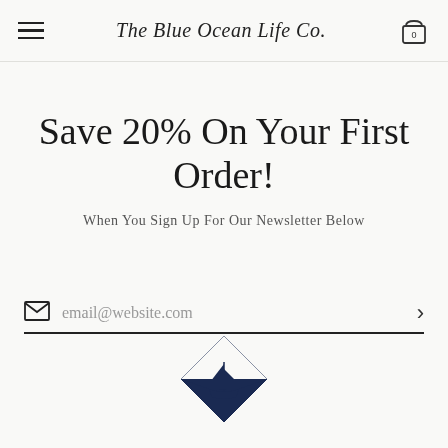The Blue Ocean Life Co.
Save 20% On Your First Order!
When You Sign Up For Our Newsletter Below
email@website.com
[Figure (logo): Diamond-shaped logo with sailboat on dark navy background]